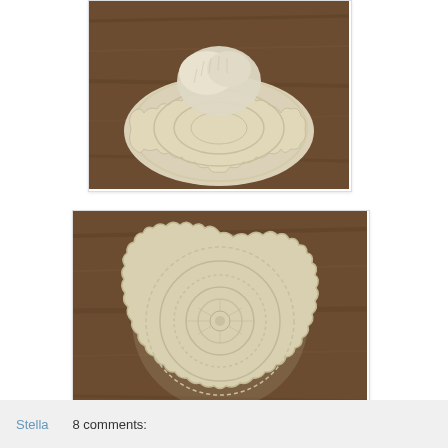[Figure (photo): Top-down view of a crocheted/lace doily on a wooden surface with a fuzzy white/cream object (possibly a crocheted animal or pom-pom) sitting on top of the doily.]
[Figure (photo): Top-down view of a round crocheted/lace doily on a wooden surface, shown alone without any object on top. The doily has intricate circular lace patterns.]
Stella    8 comments: